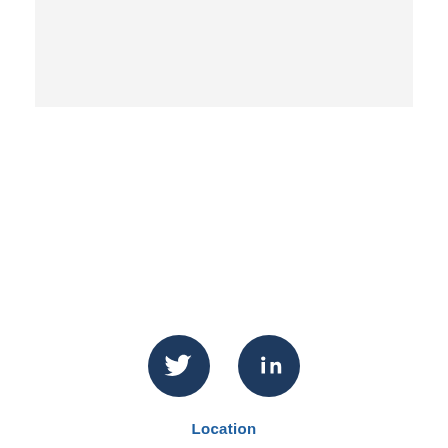[Figure (photo): Gray banner / image placeholder at the top of the page]
[Figure (illustration): Two dark navy blue circular social media icons: Twitter bird icon and LinkedIn 'in' icon, centered on the page]
Location
Sparks Willson, P.C.